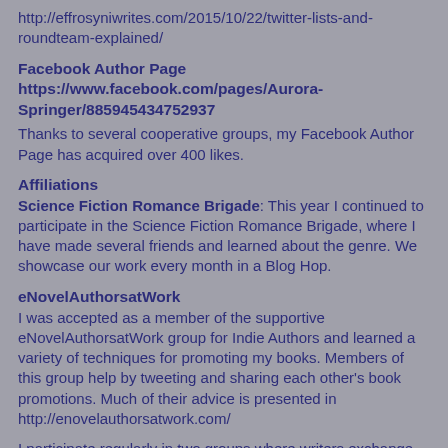http://effrosyniwrites.com/2015/10/22/twitter-lists-and-roundteam-explained/
Facebook Author Page
https://www.facebook.com/pages/Aurora-Springer/885945434752937
Thanks to several cooperative groups, my Facebook Author Page has acquired over 400 likes.
Affiliations
Science Fiction Romance Brigade: This year I continued to participate in the Science Fiction Romance Brigade, where I have made several friends and learned about the genre. We showcase our work every month in a Blog Hop.
eNovelAuthorsatWork
I was accepted as a member of the supportive eNovelAuthorsatWork group for Indie Authors and learned a variety of techniques for promoting my books. Members of this group help by tweeting and sharing each other's book promotions. Much of their advice is presented in http://enovelauthorsatwork.com/
I participate regularly in two groups where writers exchange snippets of their work each weekend.